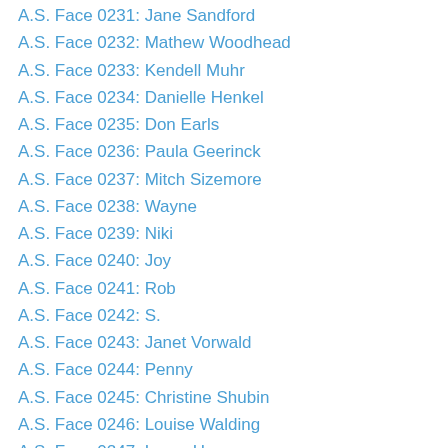A.S. Face 0231: Jane Sandford
A.S. Face 0232: Mathew Woodhead
A.S. Face 0233: Kendell Muhr
A.S. Face 0234: Danielle Henkel
A.S. Face 0235: Don Earls
A.S. Face 0236: Paula Geerinck
A.S. Face 0237: Mitch Sizemore
A.S. Face 0238: Wayne
A.S. Face 0239: Niki
A.S. Face 0240: Joy
A.S. Face 0241: Rob
A.S. Face 0242: S.
A.S. Face 0243: Janet Vorwald
A.S. Face 0244: Penny
A.S. Face 0245: Christine Shubin
A.S. Face 0246: Louise Walding
A.S. Face 0247: Laura Henry
A.S. Face 0248: Audrey Largent
A.S. Face 0249: Tami Holm
A.S. Face 0250: Anna Blaszkiewicz